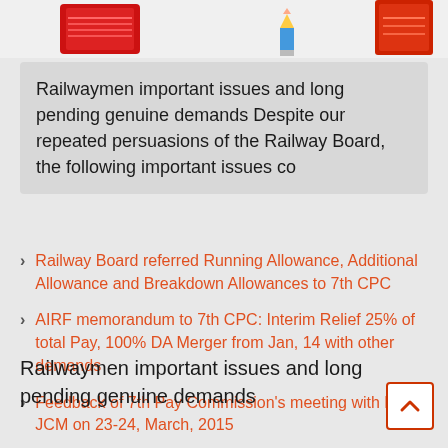[Figure (illustration): Top banner with decorative images including a red book/card on left, a blue pencil in center, and a red notebook on right against a light gray background]
Railwaymen important issues and long pending genuine demands Despite our repeated persuasions of the Railway Board, the following important issues co
Railway Board referred Running Allowance, Additional Allowance and Breakdown Allowances to 7th CPC
AIRF memorandum to 7th CPC: Interim Relief 25% of total Pay, 100% DA Merger from Jan, 14 with other demands
Feedback of 7th Pay Commission's meeting with NC JCM on 23-24, March, 2015
Railwaymen important issues and long pending genuine demands